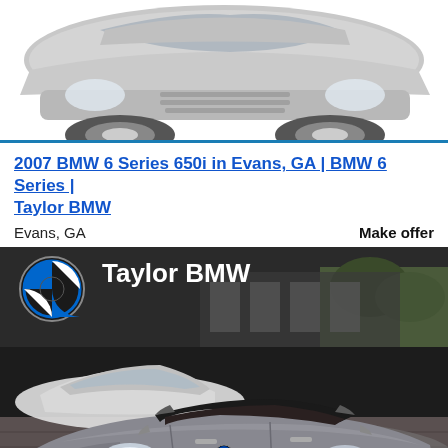[Figure (photo): Partial top view of a silver/grey car cropped at top of page]
2007 BMW 6 Series 650i in Evans, GA | BMW 6 Series | Taylor BMW
Evans, GA
Make offer
[Figure (photo): Taylor BMW dealership photo showing a grey BMW 6 Series 650i convertible in foreground with white cars and dealership sign in background]